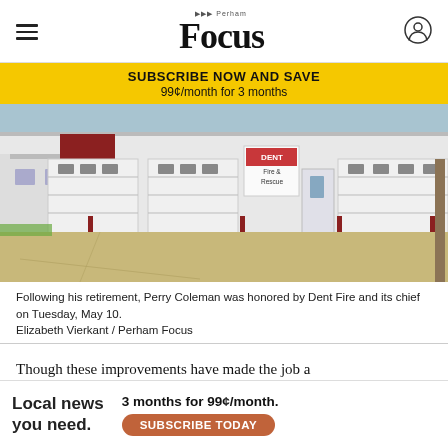Perham Focus
SUBSCRIBE NOW AND SAVE
99¢/month for 3 months
[Figure (photo): Dent Fire and Rescue station building exterior with white garage doors and red bollards, concrete apron in foreground, small white building visible at left, overcast sky.]
Following his retirement, Perry Coleman was honored by Dent Fire and its chief on Tuesday, May 10.
Elizabeth Vierkant / Perham Focus
Though these improvements have made the job a little [ad overlay] ork — especially with the Minnesota weather
Local news you need.   3 months for 99¢/month.   SUBSCRIBE TODAY